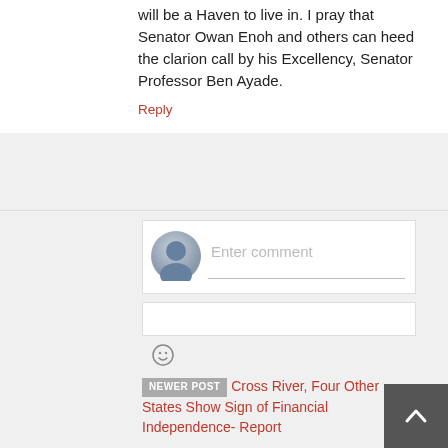will be a Haven to live in. I pray that Senator Owan Enoh and others can heed the clarion call by his Excellency, Senator Professor Ben Ayade.
Reply
Enter comment
NEWER POST Cross River, Four Other States Show Sign of Financial Independence- Report
OLDER POST WE'LL HELP YOU FULFILL YOUR ACADEMIC, SOCIAL DREAMS, VC TELLS FRESHMEN ........ As UNICAL Matriculates 10, 450